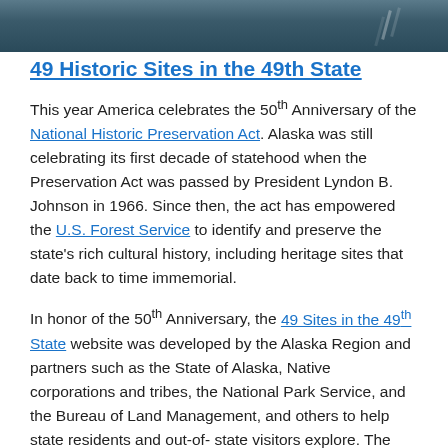[Figure (photo): Aerial or nature photograph of Alaska, dark tones showing water or landscape]
49 Historic Sites in the 49th State
This year America celebrates the 50th Anniversary of the National Historic Preservation Act. Alaska was still celebrating its first decade of statehood when the Preservation Act was passed by President Lyndon B. Johnson in 1966. Since then, the act has empowered the U.S. Forest Service to identify and preserve the state’s rich cultural history, including heritage sites that date back to time immemorial.
In honor of the 50th Anniversary, the 49 Sites in the 49th State website was developed by the Alaska Region and partners such as the State of Alaska, Native corporations and tribes, the National Park Service, and the Bureau of Land Management, and others to help state residents and out-of-state visitors explore. The site features many historical sites